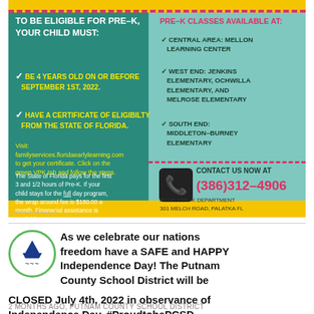[Figure (infographic): Pre-K enrollment flyer from PCSD with teal and yellow background. Left panel: eligibility requirements. Right panel: available school locations and contact info.]
As we celebrate our nations freedom have a SAFE and HAPPY Independence Day! The Putnam County School District will be CLOSED July 4th, 2022 in observance of Independence Day. #ProudtobePCSD
2 MONTHS AGO, PUTNAM COUNTY SCHOOL DISTRICT